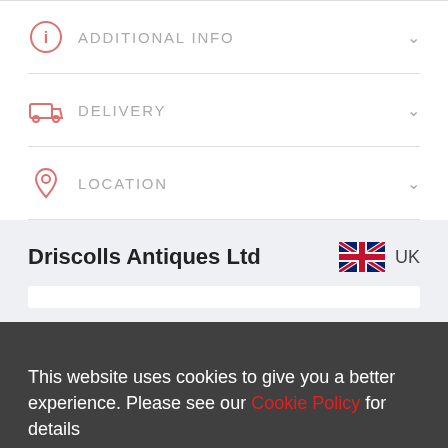ADDITIONAL INFO
DELIVERY
LOCATION
Driscolls Antiques Ltd  UK
This website uses cookies to give you a better experience. Please see our Cookie Policy for details